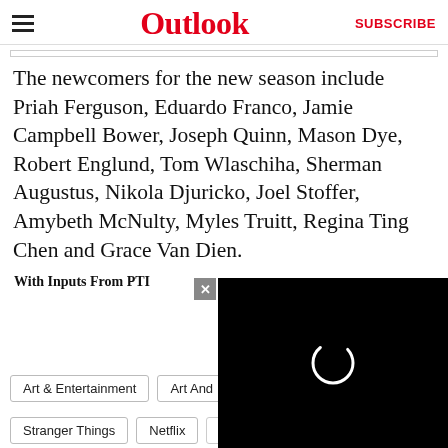Outlook | SUBSCRIBE
The newcomers for the new season include Priah Ferguson, Eduardo Franco, Jamie Campbell Bower, Joseph Quinn, Mason Dye, Robert Englund, Tom Wlaschiha, Sherman Augustus, Nikola Djuricko, Joel Stoffer, Amybeth McNulty, Myles Truitt, Regina Ting Chen and Grace Van Dien.
With Inputs From PTI
Art & Entertainment
Art And
Stranger Things
Netflix
Game Of Thrones (GOT)
[Figure (screenshot): Video player overlay with black background and circular loading spinner, with an X close button in the top-left corner]